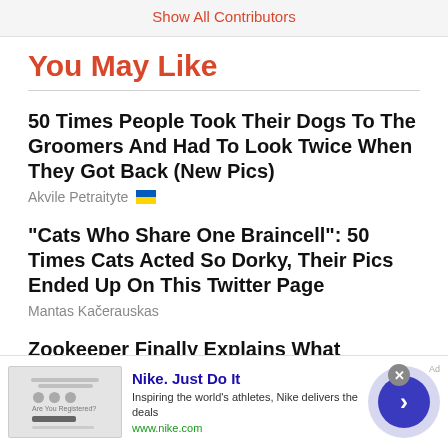Show All Contributors
You May Like
50 Times People Took Their Dogs To The Groomers And Had To Look Twice When They Got Back (New Pics)
Akvile Petraityte 🇺🇦
"Cats Who Share One Braincell": 50 Times Cats Acted So Dorky, Their Pics Ended Up On This Twitter Page
Mantas Kačerauskas
Zookeeper Finally Explains What Harambe Was Actually Doing With The Kid
[Figure (screenshot): Advertisement banner for Nike. Just Do It with thumbnail, tagline 'Inspiring the world's athletes, Nike delivers the deals', url www.nike.com, close button and arrow navigation button]